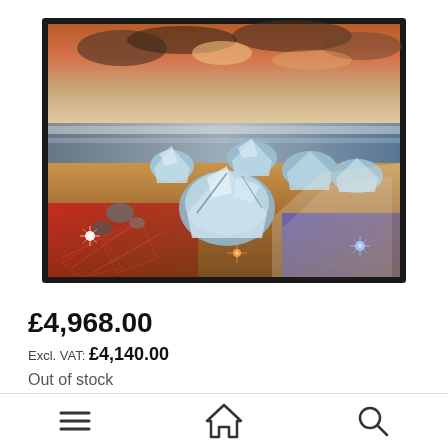[Figure (photo): Samsung QLED TV product photo showing a vivid beach scene with ice boulders on sand, dramatic sunset sky with clouds, vibrant reds and blues with geometric light patterns overlaid, displayed on a large flat-screen TV with thin black bezels.]
£4,968.00
Excl. VAT: £4,140.00
Out of stock